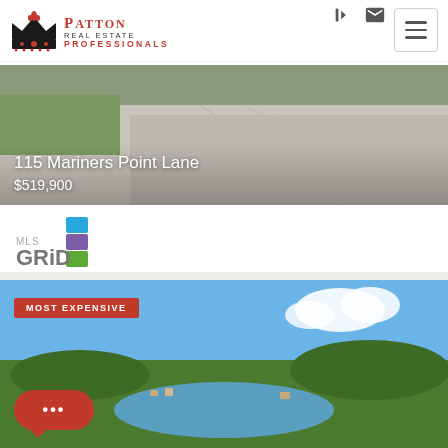[Figure (logo): Patton Real Estate Professionals logo with crown emblem and red text]
[Figure (photo): Driveway/road photo for listing at 115 Mariners Point Lane]
115 Mariners Point Lane
$519,900
[Figure (logo): MLS GRID logo with stacked colored squares]
[Figure (photo): Aerial lake view photo labeled MOST EXPENSIVE]
MOST EXPENSIVE